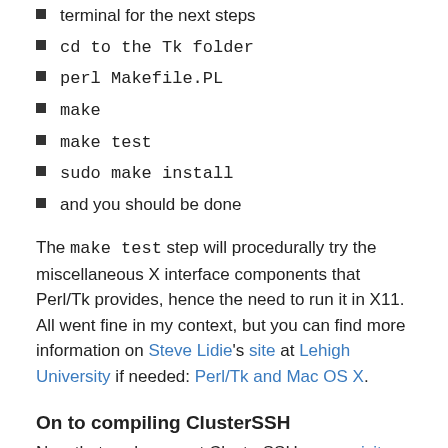terminal for the next steps
cd to the Tk folder
perl Makefile.PL
make
make test
sudo make install
and you should be done
The make test step will procedurally try the miscellaneous X interface components that Perl/Tk provides, hence the need to run it in X11. All went fine in my context, but you can find more information on Steve Lidie's site at Lehigh University if needed: Perl/Tk and Mac OS X.
On to compiling ClusterSSH
Now that we have met ClusterSSH prerequisites